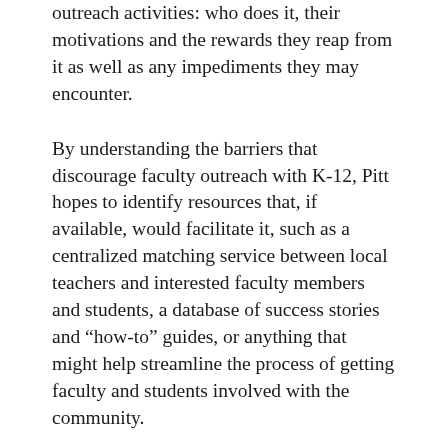outreach activities: who does it, their motivations and the rewards they reap from it as well as any impediments they may encounter.
By understanding the barriers that discourage faculty outreach with K-12, Pitt hopes to identify resources that, if available, would facilitate it, such as a centralized matching service between local teachers and interested faculty members and students, a database of success stories and “how-to” guides, or anything that might help streamline the process of getting faculty and students involved with the community.
A UI faculty member since 1986, Pitt earned an undergraduate degree in computer science and a master’s degree in mathematics from the University of Michigan and a doctorate in computer science from Yale University.